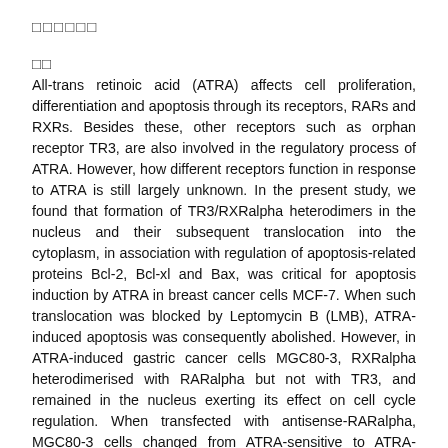□□□□□□
□□
All-trans retinoic acid (ATRA) affects cell proliferation, differentiation and apoptosis through its receptors, RARs and RXRs. Besides these, other receptors such as orphan receptor TR3, are also involved in the regulatory process of ATRA. However, how different receptors function in response to ATRA is still largely unknown. In the present study, we found that formation of TR3/RXRalpha heterodimers in the nucleus and their subsequent translocation into the cytoplasm, in association with regulation of apoptosis-related proteins Bcl-2, Bcl-xl and Bax, was critical for apoptosis induction by ATRA in breast cancer cells MCF-7. When such translocation was blocked by Leptomycin B (LMB), ATRA-induced apoptosis was consequently abolished. However, in ATRA-induced gastric cancer cells MGC80-3, RXRalpha heterodimerised with RARalpha but not with TR3, and remained in the nucleus exerting its effect on cell cycle regulation. When transfected with antisense-RARalpha, MGC80-3 cells changed from ATRA-sensitive to ATRA-resistant and most cells were